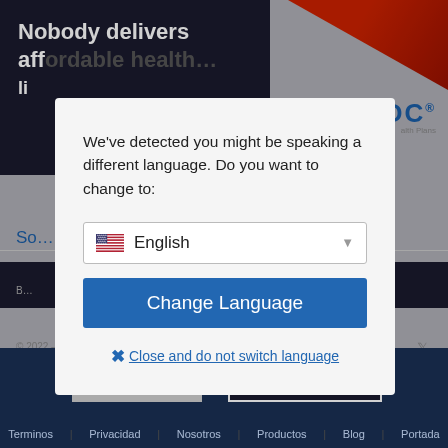[Figure (screenshot): Background website screenshot showing a healthcare insurance website with dark banner reading 'Nobody delivers affordable health...' and a modal dialog overlay]
We've detected you might be speaking a different language. Do you want to change to:
English
Change Language
Close and do not switch language
OK
Learn more
Terminos | Privacidad | Nosotros | Productos | Blog | Portada